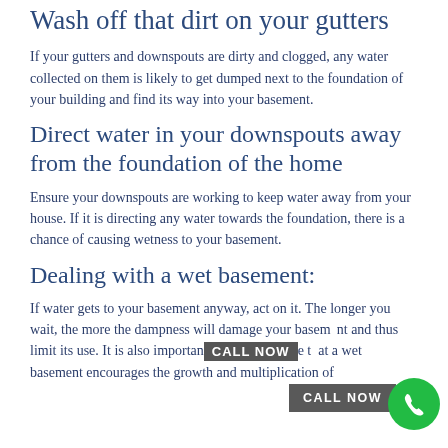Wash off that dirt on your gutters
If your gutters and downspouts are dirty and clogged, any water collected on them is likely to get dumped next to the foundation of your building and find its way into your basement.
Direct water in your downspouts away from the foundation of the home
Ensure your downspouts are working to keep water away from your house. If it is directing any water towards the foundation, there is a chance of causing wetness to your basement.
Dealing with a wet basement:
If water gets to your basement anyway, act on it. The longer you wait, the more the dampness will damage your basement and thus limit its use. It is also important to note that a wet basement encourages the growth and multiplication of